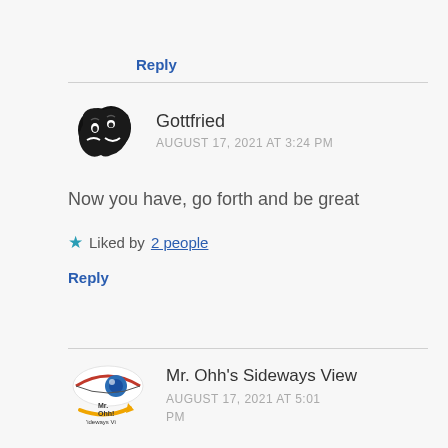Reply
Gottfried
AUGUST 17, 2021 AT 3:24 PM
Now you have, go forth and be great
★ Liked by 2 people
Reply
Mr. Ohh's Sideways View
AUGUST 17, 2021 AT 5:01 PM